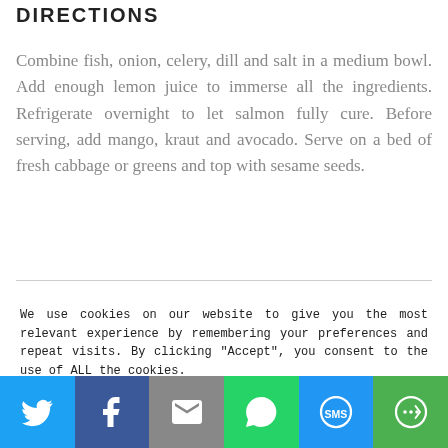DIRECTIONS
Combine fish, onion, celery, dill and salt in a medium bowl. Add enough lemon juice to immerse all the ingredients. Refrigerate overnight to let salmon fully cure. Before serving, add mango, kraut and avocado. Serve on a bed of fresh cabbage or greens and top with sesame seeds.
We use cookies on our website to give you the most relevant experience by remembering your preferences and repeat visits. By clicking "Accept", you consent to the use of ALL the cookies.
[Figure (infographic): Social share bar with Twitter, Facebook, Email, WhatsApp, SMS, and More buttons]